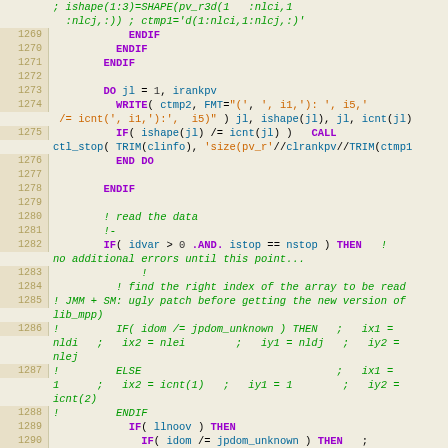[Figure (screenshot): Fortran source code listing, lines 1269–1290, showing DO loops, IF/THEN/ENDIF blocks, WRITE statements, and commented-out code. Keywords in purple, comments in green italic, strings in orange, variables in teal.]